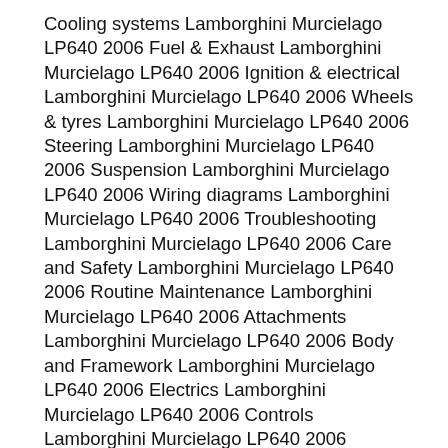Cooling systems Lamborghini Murcielago LP640 2006 Fuel & Exhaust Lamborghini Murcielago LP640 2006 Ignition & electrical Lamborghini Murcielago LP640 2006 Wheels & tyres Lamborghini Murcielago LP640 2006 Steering Lamborghini Murcielago LP640 2006 Suspension Lamborghini Murcielago LP640 2006 Wiring diagrams Lamborghini Murcielago LP640 2006 Troubleshooting Lamborghini Murcielago LP640 2006 Care and Safety Lamborghini Murcielago LP640 2006 Routine Maintenance Lamborghini Murcielago LP640 2006 Attachments Lamborghini Murcielago LP640 2006 Body and Framework Lamborghini Murcielago LP640 2006 Electrics Lamborghini Murcielago LP640 2006 Controls Lamborghini Murcielago LP640 2006 Hydraulics Lamborghini Murcielago LP640 2006 Gearboxes Lamborghini Murcielago LP640 2006 Track Lamborghini Murcielago LP640 2006 Running Gear Lamborghini Murcielago LP640